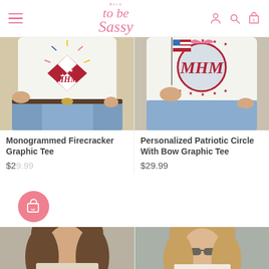Born to be Sassy — navigation header with hamburger menu, logo, user/search/cart icons
[Figure (photo): Woman wearing white Monogrammed Firecracker Graphic Tee with MHM monogram, firework design, American flag motif, paired with denim cutoff shorts and a Gucci belt]
[Figure (photo): Woman wearing white Personalized Patriotic Circle With Bow Graphic Tee with MHM monogram and stars, holding an American flag, paired with denim cutoff shorts]
Monogrammed Firecracker Graphic Tee
Personalized Patriotic Circle With Bow Graphic Tee
$29.99
[Figure (photo): Bottom-left product photo — partial view of a woman with long hair, outdoor setting]
[Figure (photo): Bottom-right product photo — partial view of a woman wearing sunglasses]